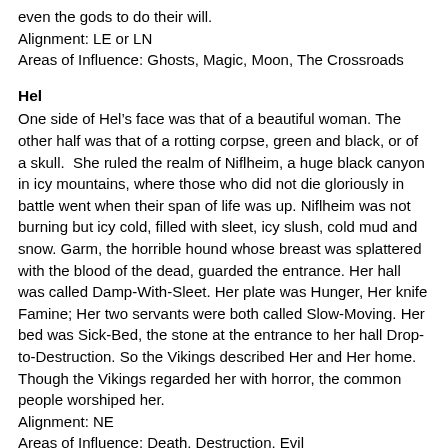even the gods to do their will.
Alignment: LE or LN
Areas of Influence: Ghosts, Magic, Moon, The Crossroads
Hel
One side of Hel’s face was that of a beautiful woman. The other half was that of a rotting corpse, green and black, or of a skull.  She ruled the realm of Niflheim, a huge black canyon in icy mountains, where those who did not die gloriously in battle went when their span of life was up. Niflheim was not burning but icy cold, filled with sleet, icy slush, cold mud and snow. Garm, the horrible hound whose breast was splattered with the blood of the dead, guarded the entrance. Her hall was called Damp-With-Sleet. Her plate was Hunger, Her knife Famine; Her two servants were both called Slow-Moving. Her bed was Sick-Bed, the stone at the entrance to her hall Drop-to-Destruction. So the Vikings described Her and Her home. Though the Vikings regarded her with horror, the common people worshiped her.
Alignment: NE
Areas of Influence: Death, Destruction, Evil